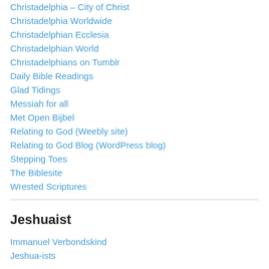Christadelphia – City of Christ
Christadelphia Worldwide
Christadelphian Ecclesia
Christadelphian World
Christadelphians on Tumblr
Daily Bible Readings
Glad Tidings
Messiah for all
Met Open Bijbel
Relating to God (Weebly site)
Relating to God Blog (WordPress blog)
Stepping Toes
The Biblesite
Wrested Scriptures
Jeshuaist
Immanuel Verbondskind
Jeshua-ists